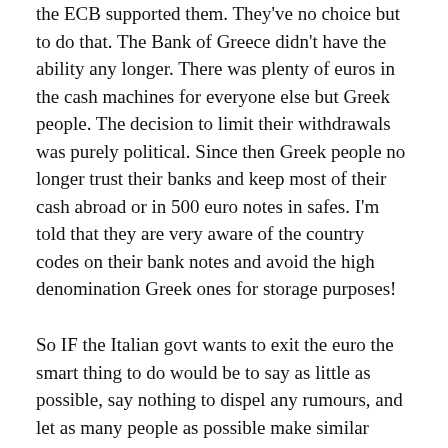the ECB supported them. They've no choice but to do that. The Bank of Greece didn't have the ability any longer. There was plenty of euros in the cash machines for everyone else but Greek people. The decision to limit their withdrawals was purely political. Since then Greek people no longer trust their banks and keep most of their cash abroad or in 500 euro notes in safes. I'm told that they are very aware of the country codes on their bank notes and avoid the high denomination Greek ones for storage purposes!
So IF the Italian govt wants to exit the euro the smart thing to do would be to say as little as possible, say nothing to dispel any rumours, and let as many people as possible make similar arrangements. Then when they are good and ready they either pick fight with the IMF...